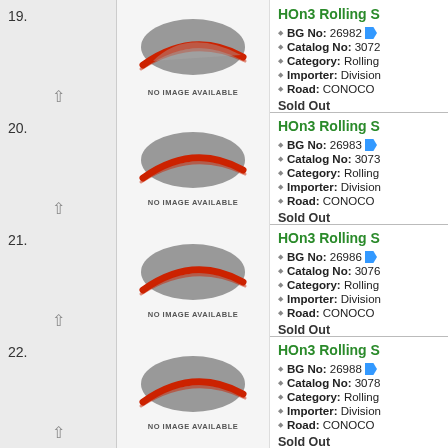19. HOn3 Rolling S - BG No: 26982, Catalog No: 3072, Category: Rolling, Importer: Division, Road: CONOCO - Sold Out
20. HOn3 Rolling S - BG No: 26983, Catalog No: 3073, Category: Rolling, Importer: Division, Road: CONOCO - Sold Out
21. HOn3 Rolling S - BG No: 26986, Catalog No: 3076, Category: Rolling, Importer: Division, Road: CONOCO - Sold Out
22. HOn3 Rolling S - BG No: 26988, Catalog No: 3078, Category: Rolling, Importer: Division, Road: CONOCO - Sold Out